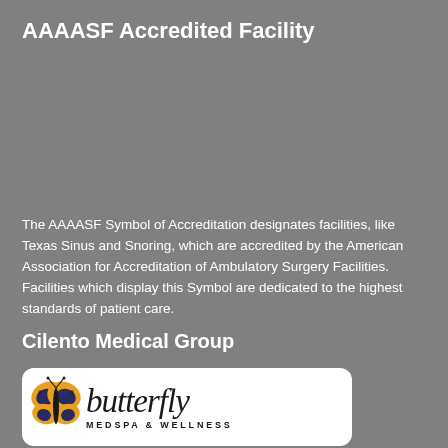AAAASF Accredited Facility
The AAAASF Symbol of Accreditation designates facilities, like Texas Sinus and Snoring, which are accredited by the American Association for Accreditation of Ambulatory Surgery Facilities. Facilities which display this Symbol are dedicated to the highest standards of patient care.
Cilento Medical Group
[Figure (logo): Butterfly Medspa & Wellness logo: a monarch butterfly graphic next to cursive 'butterfly' text with 'MEDSPA & WELLNESS' below in spaced caps, on a white rounded-rectangle card]